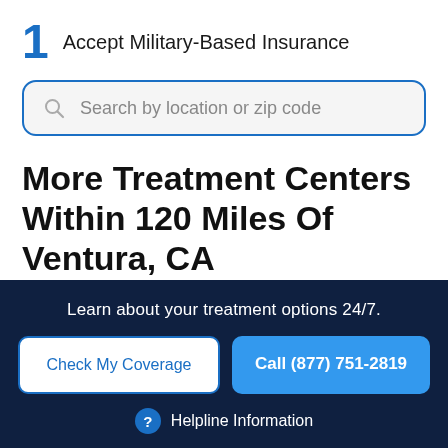1 Accept Military-Based Insurance
Search by location or zip code
More Treatment Centers Within 120 Miles Of Ventura, CA
Hide Non-sponsored Listings
Learn about your treatment options 24/7.
Check My Coverage
Call (877) 751-2819
Helpline Information